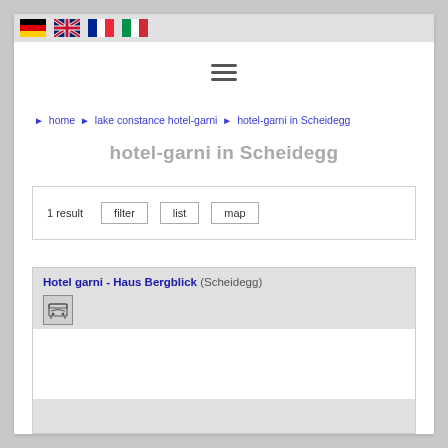[Figure (illustration): Four country flag icons: Germany, UK, France, Italy]
[Figure (illustration): Hamburger menu icon (three horizontal lines)]
► home ► lake constance hotel-garni ► hotel-garni in Scheidegg
hotel-garni in Scheidegg
1 result  filter  list  map
Hotel garni - Haus Bergblick (Scheidegg)
[Figure (illustration): Parking/garage icon]